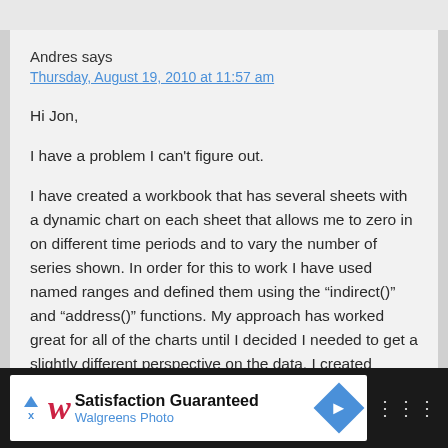Andres says
Thursday, August 19, 2010 at 11:57 am
Hi Jon,
I have a problem I can't figure out.
I have created a workbook that has several sheets with a dynamic chart on each sheet that allows me to zero in on different time periods and to vary the number of series shown. In order for this to work I have used named ranges and defined them using the “indirect()” and “address()” functions. My approach has worked great for all of the charts until I decided I needed to get a slightly different perspective on the data. I created another sheet within the workbook, and
[Figure (other): Walgreens Photo advertisement banner: 'Satisfaction Guaranteed' with Walgreens logo and navigation icon]